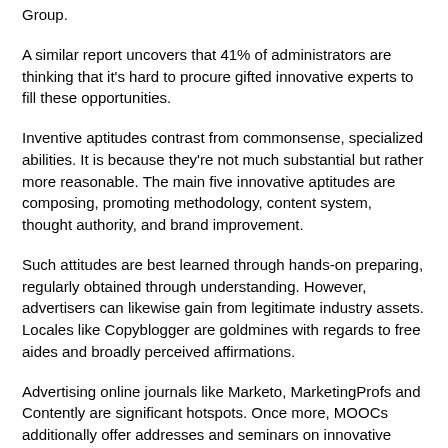Group.
A similar report uncovers that 41% of administrators are thinking that it's hard to procure gifted innovative experts to fill these opportunities.
Inventive aptitudes contrast from commonsense, specialized abilities. It is because they're not much substantial but rather more reasonable. The main five innovative aptitudes are composing, promoting methodology, content system, thought authority, and brand improvement.
Such attitudes are best learned through hands-on preparing, regularly obtained through understanding. However, advertisers can likewise gain from legitimate industry assets. Locales like Copyblogger are goldmines with regards to free aides and broadly perceived affirmations.
Advertising online journals like Marketo, MarketingProfs and Contently are significant hotspots. Once more, MOOCs additionally offer addresses and seminars on innovative aptitudes like substance advertising and marking.